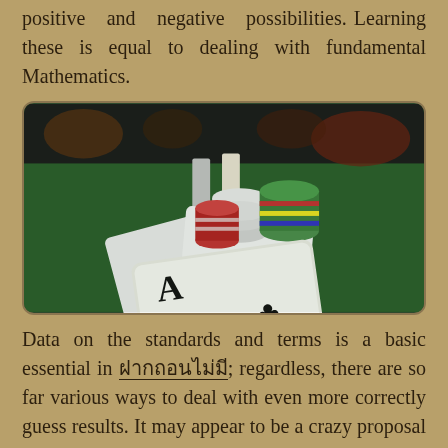positive and negative possibilities. Learning these is equal to dealing with fundamental Mathematics.
[Figure (photo): Poker table with playing cards (including an Ace) and colorful casino chips stacked on a green felt surface, photographed from a player's perspective holding cards.]
Data on the standards and terms is a basic essential in ฝากถอนไม่มี; regardless, there are so far various ways to deal with even more correctly guess results. It may appear to be a crazy proposal yet some magnate bettors